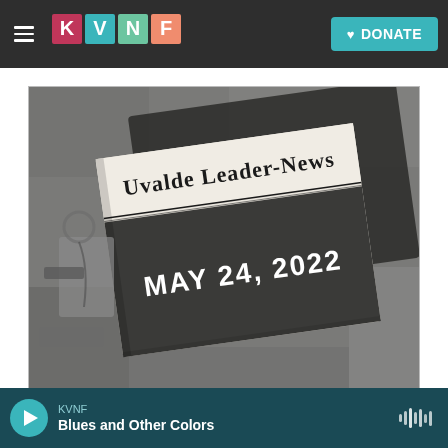KVNF — Navigation bar with hamburger menu, KVNF logo, and DONATE button
[Figure (photo): Photograph of the Uvalde Leader-News newspaper with a black front page reading 'MAY 24, 2022' in large white bold text, placed on top of other items outdoors on a stone surface]
Allison Dinner / AFP Via Getty Images
KVNF — Blues and Other Colors — audio player bar